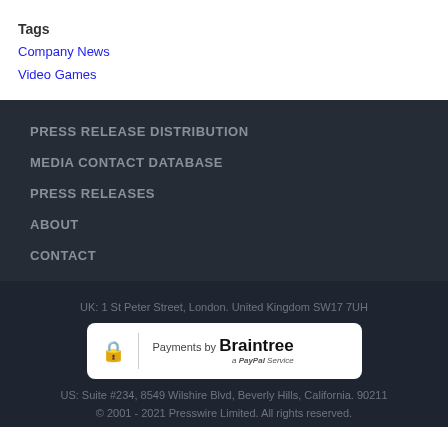Tags
Company News
Video Games
PRESS RELEASE DISTRIBUTION
MEDIA CONTACT DATABASE
PRESS RELEASES
ABOUT
CONTACT
UK: 1 St Peter Street, London. United Kingdom SW17 7UH
[Figure (logo): Payments by Braintree a PayPal Service badge with lock icon]
US: Suite #234, 8549 Wilshire Blvd, Beverly Hills, California. 90211
© 2001 - 2021 Presswire Limited. All rights reserved.